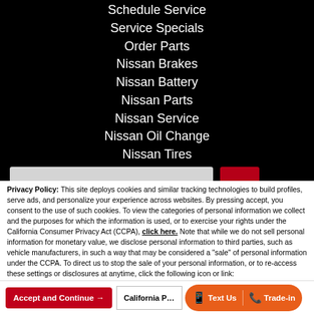Schedule Service
Service Specials
Order Parts
Nissan Brakes
Nissan Battery
Nissan Parts
Nissan Service
Nissan Oil Change
Nissan Tires
Privacy Policy: This site deploys cookies and similar tracking technologies to build profiles, serve ads, and personalize your experience across websites. By pressing accept, you consent to the use of such cookies. To view the categories of personal information we collect and the purposes for which the information is used, or to exercise your rights under the California Consumer Privacy Act (CCPA), click here. Note that while we do not sell personal information for monetary value, we disclose personal information to third parties, such as vehicle manufacturers, in such a way that may be considered a "sale" of personal information under the CCPA. To direct us to stop the sale of your personal information, or to re-access these settings or disclosures at anytime, click the following icon or link:
Do Not Sell My Personal Information
Language: English
Powered by ComplyAuto
Accept and Continue →
California P...
Text Us
Trade-in